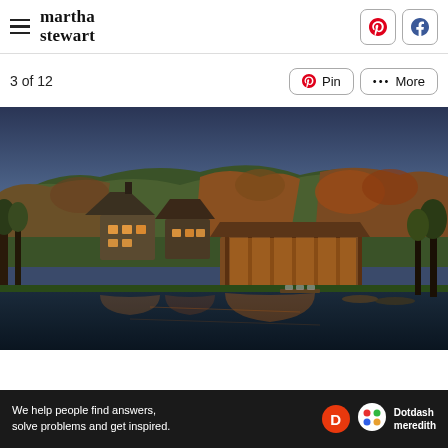martha stewart
3 of 12
[Figure (photo): Twilight exterior photo of a large estate with multiple illuminated buildings nestled among autumn-colored hills, reflected in a foreground lake or pond. A pavilion structure with warm lighting and a main house are visible, surrounded by fall foliage.]
We help people find answers, solve problems and get inspired. Dotdash meredith